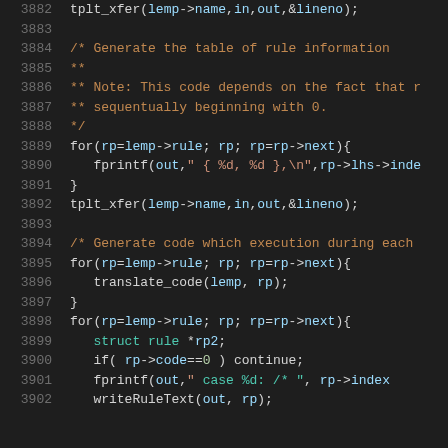Source code listing, lines 3882–3902
3882    tplt_xfer(lemp->name,in,out,&lineno);
3883
3884    /* Generate the table of rule information
3885    **
3886    ** Note: This code depends on the fact that r
3887    ** sequentually beginning with 0.
3888    */
3889    for(rp=lemp->rule; rp; rp=rp->next){
3890      fprintf(out,"  { %d, %d },\n",rp->lhs->inde
3891    }
3892    tplt_xfer(lemp->name,in,out,&lineno);
3893
3894    /* Generate code which execution during each
3895    for(rp=lemp->rule; rp; rp=rp->next){
3896      translate_code(lemp, rp);
3897    }
3898    for(rp=lemp->rule; rp; rp=rp->next){
3899      struct rule *rp2;
3900      if( rp->code==0 ) continue;
3901      fprintf(out,"      case %d: /* ", rp->index
3902      writeRuleText(out, rp);